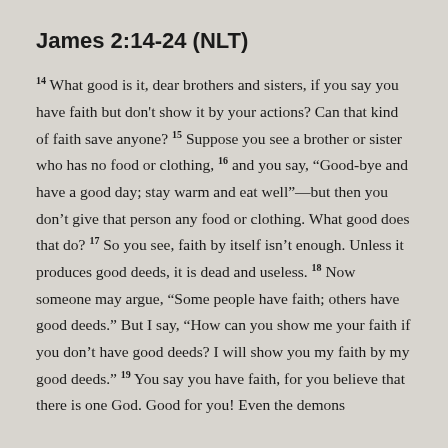James 2:14-24 (NLT)
14 What good is it, dear brothers and sisters, if you say you have faith but don't show it by your actions? Can that kind of faith save anyone? 15 Suppose you see a brother or sister who has no food or clothing, 16 and you say, “Good-bye and have a good day; stay warm and eat well”—but then you don’t give that person any food or clothing. What good does that do? 17 So you see, faith by itself isn’t enough. Unless it produces good deeds, it is dead and useless. 18 Now someone may argue, “Some people have faith; others have good deeds.” But I say, “How can you show me your faith if you don’t have good deeds? I will show you my faith by my good deeds.” 19 You say you have faith, for you believe that there is one God. Good for you! Even the demons...